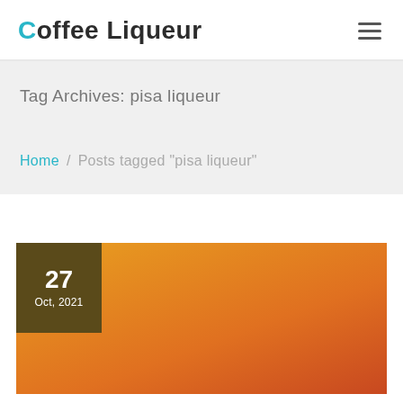Coffee Liqueur
Tag Archives: pisa liqueur
Home / Posts tagged "pisa liqueur"
[Figure (photo): Orange/amber colored featured image with a dark olive-brown date badge showing '27 Oct, 2021' in the top-left corner]